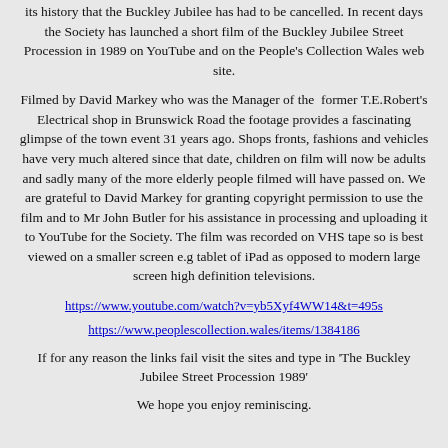its history that the Buckley Jubilee has had to be cancelled. In recent days the Society has launched a short film of the Buckley Jubilee Street Procession in 1989 on YouTube and on the People's Collection Wales web site.
Filmed by David Markey who was the Manager of the former T.E.Robert's Electrical shop in Brunswick Road the footage provides a fascinating glimpse of the town event 31 years ago. Shops fronts, fashions and vehicles have very much altered since that date, children on film will now be adults and sadly many of the more elderly people filmed will have passed on. We are grateful to David Markey for granting copyright permission to use the film and to Mr John Butler for his assistance in processing and uploading it to YouTube for the Society. The film was recorded on VHS tape so is best viewed on a smaller screen e.g tablet of iPad as opposed to modern large screen high definition televisions.
https://www.youtube.com/watch?v=yb5Xyf4WW14&t=495s
https://www.peoplescollection.wales/items/1384186
If for any reason the links fail visit the sites and type in 'The Buckley Jubilee Street Procession 1989'
We hope you enjoy reminiscing.